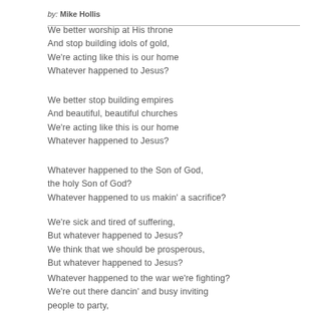by: Mike Hollis
We better worship at His throne
And stop building idols of gold,
We're acting like this is our home
Whatever happened to Jesus?
We better stop building empires
And beautiful, beautiful churches
We're acting like this is our home
Whatever happened to Jesus?
Whatever happened to the Son of God, the holy Son of God?
Whatever happened to us makin' a sacrifice?
We're sick and tired of suffering,
But whatever happened to Jesus?
We think that we should be prosperous,
But whatever happened to Jesus?
Whatever happened to the war we're fighting?
We're out there dancin' and busy inviting people to party,
let's party in the name of the Lord!